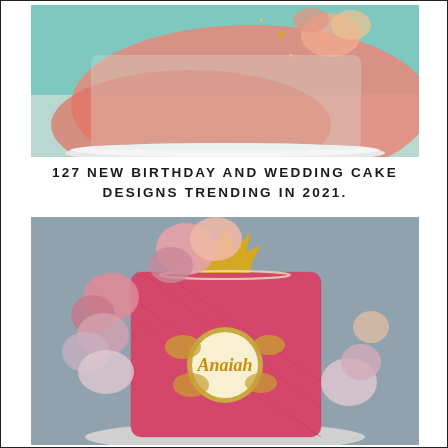[Figure (photo): A round birthday/wedding cake with mint green and coral/pink marbled frosting with gold glitter floral decorations on top, sitting on a white cake board.]
127 NEW BIRTHDAY AND WEDDING CAKE DESIGNS TRENDING IN 2021.
[Figure (photo): A tall pink textured fondant birthday cake named 'Anaiah' with a gold crown on top, adorned with pink, blush, and mauve sugar flowers and a circular gold-rimmed name plaque with gold script lettering.]